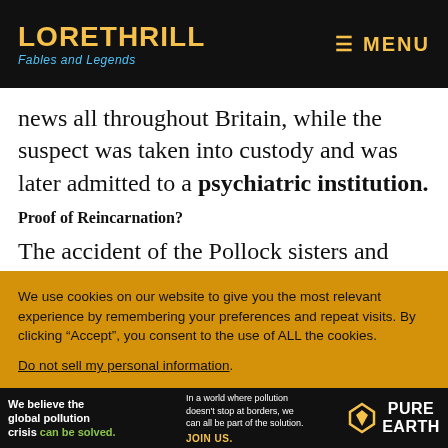LORETHRILL Fables and Legends — MENU
news all throughout Britain, while the suspect was taken into custody and was later admitted to a psychiatric institution.
Proof of Reincarnation?
The accident of the Pollock sisters and their friend left their families utterly devastated.
We use cookies on our website to give you the most relevant experience by remembering your preferences and repeat visits. By clicking “Accept”, you consent to the use of ALL the cookies.
Do not sell my personal information.
[Figure (infographic): Pure Earth advertisement banner: 'We believe the global pollution crisis can be solved. In a world where pollution doesn't stop at borders, we can all be part of the solution. JOIN US.' with Pure Earth logo.]